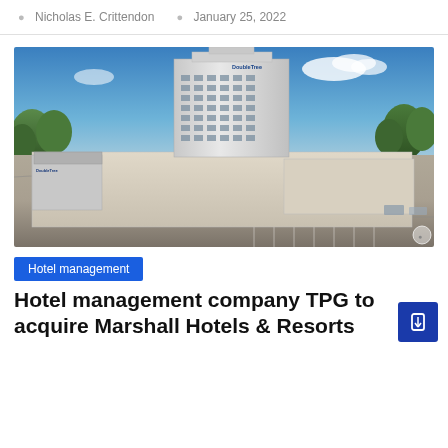Nicholas E. Crittendon  |  January 25, 2022
[Figure (photo): Aerial view of a large hotel tower with parking lot and low-rise entrance buildings surrounded by trees under a blue sky]
Hotel management
Hotel management company TPG to acquire Marshall Hotels & Resorts